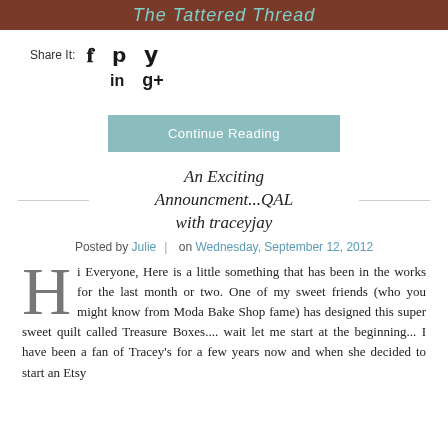[Figure (illustration): Blog header banner with dark reddish-brown background and teal cursive script text]
Share It:  f  𝗽  𝘆  in  g+
Continue Reading
An Exciting Announcment...QAL with traceyjay
Posted by Julie | on Wednesday, September 12, 2012
Hi Everyone, Here is a little something that has been in the works for the last month or two. One of my sweet friends (who you might know from Moda Bake Shop fame) has designed this super sweet quilt called Treasure Boxes.... wait let me start at the beginning... I have been a fan of Tracey's for a few years now and when she decided to start an Etsy